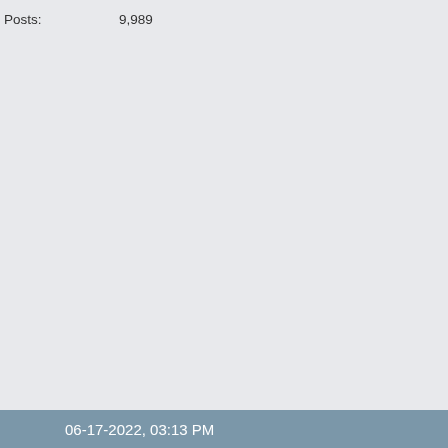Posts: 9,989
but it's not my decision. Hopef cleared up to his satisfaction a

EDIT: I think what gets me, an this isn't a gray area. It is a cle complied with and others did n understand why that is accepta problem, not mine, thankfully.
The explanation from the commission owner asked him and he told them it v starting.

So the problem is that he made a mis mistake. The correct resolution is to a roll back the mistake. He's choosing t

I still may call him and talk through it. that if there is something not covered voted on by the league. He didn't do t strike 2. I'm going to give him a chanc and basically says throw out all the ru then I'm obviously done.
06-17-2022, 03:13 PM